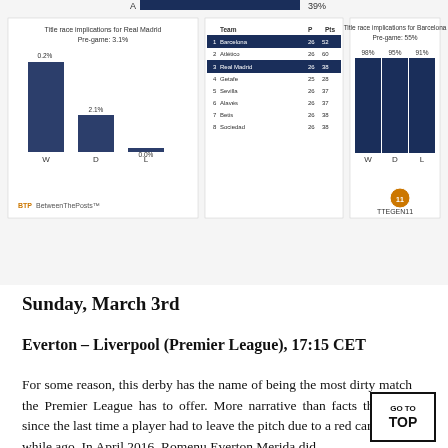[Figure (bar-chart): Two bar charts showing title race implications for Real Madrid (Pre-game: 3.1%) and Barcelona (Pre-game: 55%), with a league table in the center showing teams, P, Pts columns.]
Sunday, March 3rd
Everton – Liverpool (Premier League), 17:15 CET
For some reason, this derby has the name of being the most dirty match the Premier League has to offer. More narrative than facts that one, since the last time a player had to leave the pitch due to a red card was a while ago. In April 2016, Romelu Everton Merida did...